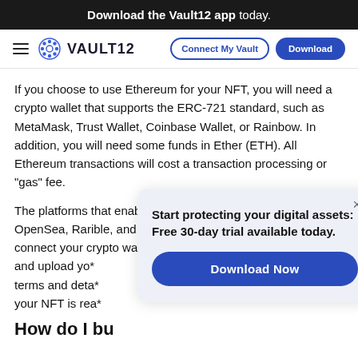Download the Vault12 app today.
VAULT12 — Connect My Vault | Download
If you choose to use Ethereum for your NFT, you will need a crypto wallet that supports the ERC-721 standard, such as MetaMask, Trust Wallet, Coinbase Wallet, or Rainbow. In addition, you will need some funds in Ether (ETH). All Ethereum transactions will cost a transaction processing or "gas" fee.
The platforms that enable you to create NFTs include OpenSea, Rarible, and Mintable. To use these NFT platforms, connect your crypto wal* and upload yo* terms and deta* your NFT is rea*
[Figure (infographic): Popup overlay with text: Start protecting your digital assets: Free 30-day trial available today. With a Download Now button.]
How do I bu*